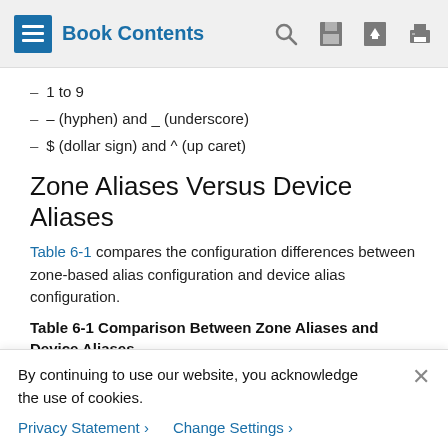Book Contents
1 to 9
- (hyphen) and _ (underscore)
$ (dollar sign) and ^ (up caret)
Zone Aliases Versus Device Aliases
Table 6-1 compares the configuration differences between zone-based alias configuration and device alias configuration.
Table 6-1 Comparison Between Zone Aliases and Device Aliases
| Zone-Based Aliases | Device Aliases |
| --- | --- |
By continuing to use our website, you acknowledge the use of cookies.
Privacy Statement > Change Settings >